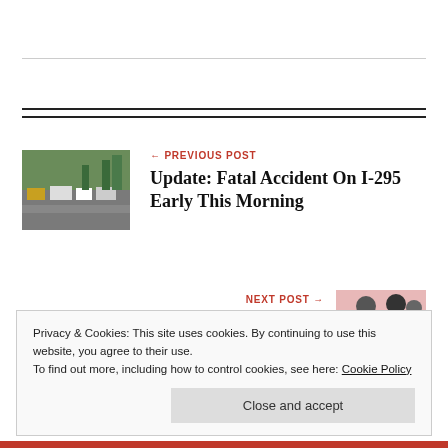← PREVIOUS POST
Update: Fatal Accident On I-295 Early This Morning
NEXT POST →
[Figure (photo): Thumbnail photo of highway accident scene with vehicles on I-295]
[Figure (photo): Thumbnail photo of people, partially visible, pink background]
Privacy & Cookies: This site uses cookies. By continuing to use this website, you agree to their use.
To find out more, including how to control cookies, see here: Cookie Policy
Close and accept